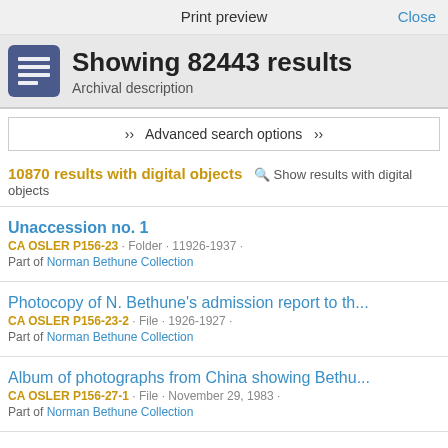Print preview  Close
Showing 82443 results
Archival description
« Advanced search options »
10870 results with digital objects  🔍 Show results with digital objects
Unaccession no. 1
CA OSLER P156-23 · Folder · 11926-1937 ·
Part of Norman Bethune Collection
Photocopy of N. Bethune's admission report to th...
CA OSLER P156-23-2 · File · 1926-1927 ·
Part of Norman Bethune Collection
Album of photographs from China showing Bethu...
CA OSLER P156-27-1 · File · November 29, 1983 ·
Part of Norman Bethune Collection